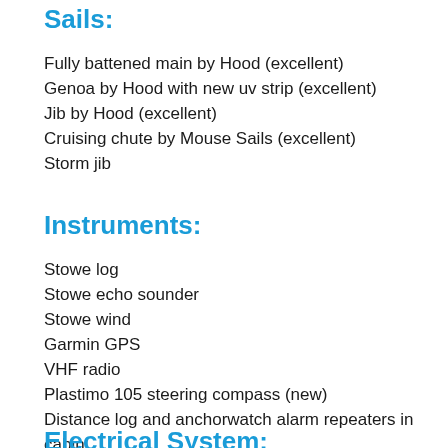Sails:
Fully battened main by Hood (excellent)
Genoa by Hood with new uv strip (excellent)
Jib by Hood (excellent)
Cruising chute by Mouse Sails (excellent)
Storm jib
Instruments:
Stowe log
Stowe echo sounder
Stowe wind
Garmin GPS
VHF radio
Plastimo 105 steering compass (new)
Distance log and anchorwatch alarm repeaters in cabin
Electrical System: